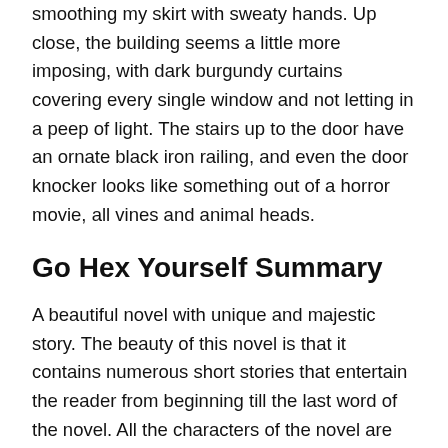smoothing my skirt with sweaty hands. Up close, the building seems a little more imposing, with dark burgundy curtains covering every single window and not letting in a peep of light. The stairs up to the door have an ornate black iron railing, and even the door knocker looks like something out of a horror movie, all vines and animal heads.
Go Hex Yourself Summary
A beautiful novel with unique and majestic story. The beauty of this novel is that it contains numerous short stories that entertain the reader from beginning till the last word of the novel. All the characters of the novel are unique and refreshing.. It’s a unique novel in numerous ways, and yet, of course, its themes are universal. No doubt this novel is a truly original and well